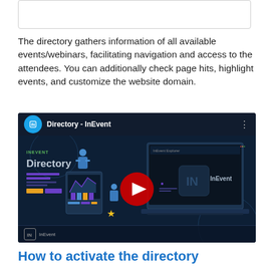[Figure (other): Empty white box with border at top of page]
The directory gathers information of all available events/webinars, facilitating navigation and access to the attendees. You can additionally check page hits, highlight events, and customize the website domain.
[Figure (screenshot): YouTube-style embedded video thumbnail showing 'Directory - InEvent' with InEvent logo, play button, and dark background with illustration of directory interface]
How to activate the directory